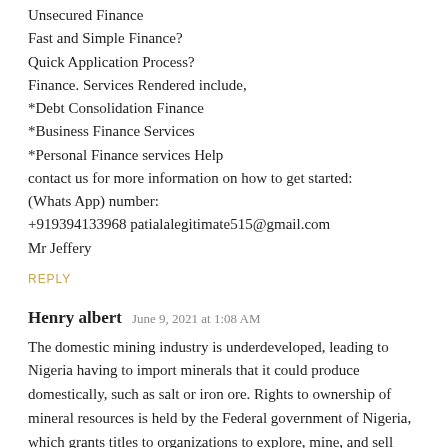Unsecured Finance
Fast and Simple Finance?
Quick Application Process?
Finance. Services Rendered include,
*Debt Consolidation Finance
*Business Finance Services
*Personal Finance services Help
contact us for more information on how to get started:
(Whats App) number:
+919394133968 patialalegitimate515@gmail.com
Mr Jeffery
REPLY
Henry albert  June 9, 2021 at 1:08 AM
The domestic mining industry is underdeveloped, leading to Nigeria having to import minerals that it could produce domestically, such as salt or iron ore. Rights to ownership of mineral resources is held by the Federal government of Nigeria, which grants titles to organizations to explore, mine, and sell mineral resources. Supplier of Minerals